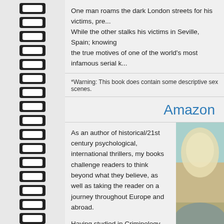One man roams the dark London streets for his victims, pre... While the other stalks his victims in Seville, Spain; knowing the true motives of one of the world's most infamous serial k...
*Warning: This book does contain some descriptive sex scenes.
Amazon
As an author of historical/21st century psychological, international thrillers, my books challenge readers to think beyond what they believe, as well as taking the reader on a journey throughout Europe and abroad.
Having studied in Criminology and Neuro Linguistic programming; in addition to doing a diploma course in body language, enables me to give an authentic feel to my characters, and the crimes committed. Because I've always
[Figure (photo): Partial photo of a person with blonde hair, cropped at right edge of page]